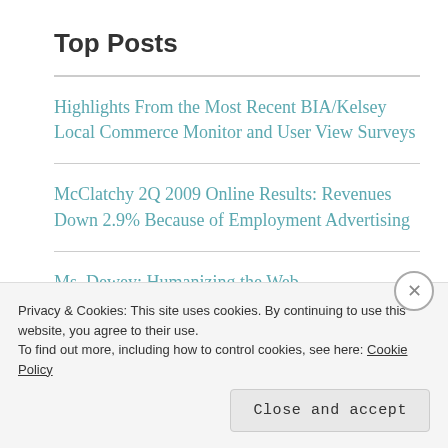Top Posts
Highlights From the Most Recent BIA/Kelsey Local Commerce Monitor and User View Surveys
McClatchy 2Q 2009 Online Results: Revenues Down 2.9% Because of Employment Advertising
Ms. Dewey: Humanizing the Web
Privacy & Cookies: This site uses cookies. By continuing to use this website, you agree to their use. To find out more, including how to control cookies, see here: Cookie Policy
Close and accept